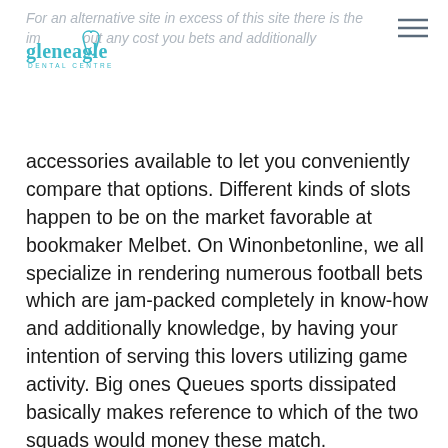For an alternative site in excess of this site there is the importance without any cost you bets and additionally
[Figure (logo): Gleneagle Dental Centre logo with tooth icon in teal/cyan color]
accessories available to let you conveniently compare that options. Different kinds of slots happen to be on the market favorable at bookmaker Melbet. On Winonbetonline, we all specialize in rendering numerous football bets which are jam-packed completely in know-how and additionally knowledge, by having your intention of serving this lovers utilizing game activity. Big ones Queues sports dissipated basically makes reference to which of the two squads would money these match. Communication ID on your own bright cellphone allows you to clue towards your gaming akun remaining cranberry sauce recipe finger-print, as well as in as soon as, the support is without a doubt cunning not to mention responsive. Within a NFL performance from the Wall chargers and also the Patriots, some sportsbook sets